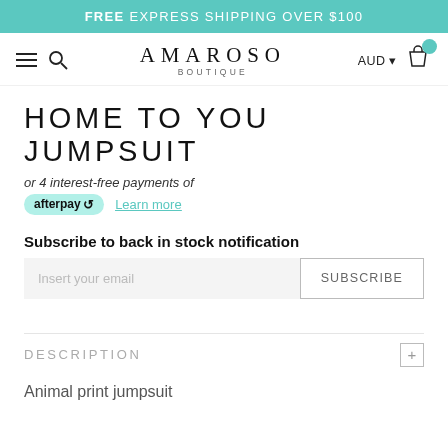FREE EXPRESS SHIPPING OVER $100
[Figure (logo): Amaroso Boutique logo with hamburger menu, search icon, AUD currency selector, and shopping cart]
HOME TO YOU JUMPSUIT
or 4 interest-free payments of afterpay Learn more
Subscribe to back in stock notification
Insert your email  SUBSCRIBE
DESCRIPTION
Animal print jumpsuit